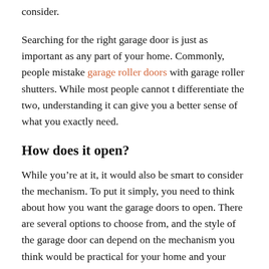consider.
Searching for the right garage door is just as important as any part of your home. Commonly, people mistake garage roller doors with garage roller shutters. While most people cannot t differentiate the two, understanding it can give you a better sense of what you exactly need.
How does it open?
While you’re at it, it would also be smart to consider the mechanism. To put it simply, you need to think about how you want the garage doors to open. There are several options to choose from, and the style of the garage door can depend on the mechanism you think would be practical for your home and your lifestyle.
With that being said, there are pros and cons to each